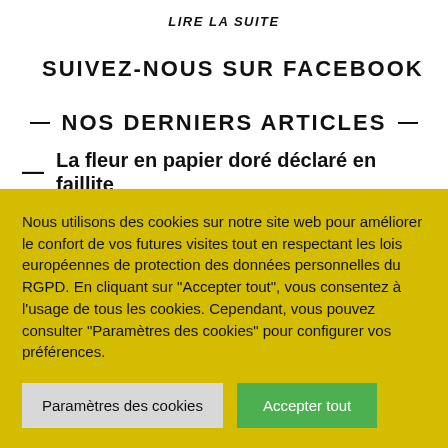LIRE LA SUITE
SUIVEZ-NOUS SUR FACEBOOK
NOS DERNIERS ARTICLES
La fleur en papier doré déclaré en faillite
Nous utilisons des cookies sur notre site web pour améliorer le confort de vos futures visites tout en respectant les lois européennes de protection des données personnelles du RGPD. En cliquant sur "Accepter tout", vous consentez à l'usage de tous les cookies. Cependant, vous pouvez consulter "Paramètres des cookies" pour configurer vos préférences.
Paramètres des cookies
Accepter tout